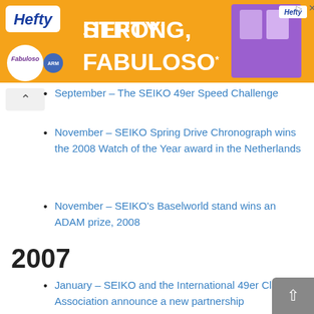[Figure (infographic): Hefty brand advertisement banner with orange background. Text reads 'HEFTY* STRONG, FABULOSO* FRESH'. Logos for Hefty, Fabuloso, and Arm & Hammer visible. Product packaging image on right side.]
September – The SEIKO 49er Speed Challenge
November – SEIKO Spring Drive Chronograph wins the 2008 Watch of the Year award in the Netherlands
November – SEIKO's Baselworld stand wins an ADAM prize, 2008
2007
January – SEIKO and the International 49er Class Association announce a new partnership
March – New Product | Use the power of Kinetic to travel the world with the Arctura GMT